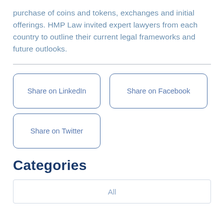purchase of coins and tokens, exchanges and initial offerings. HMP Law invited expert lawyers from each country to outline their current legal frameworks and future outlooks.
Share on LinkedIn
Share on Facebook
Share on Twitter
Categories
All